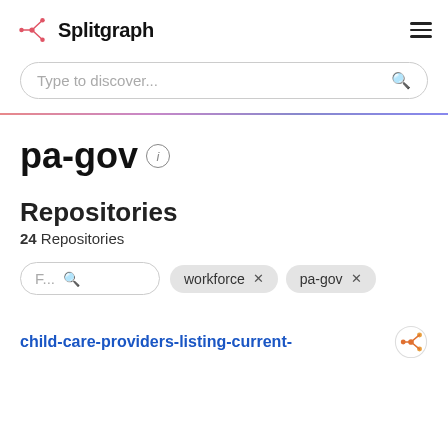Splitgraph
Type to discover...
pa-gov
Repositories
24 Repositories
F...
workforce X   pa-gov X
child-care-providers-listing-current-